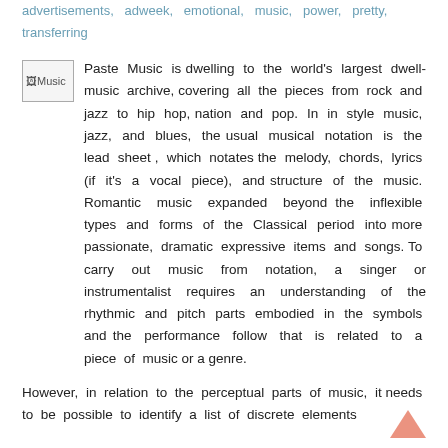advertisements, adweek, emotional, music, power, pretty, transferring
[Figure (illustration): Small broken image placeholder icon labeled 'Music']
Paste Music is dwelling to the world's largest dwell-music archive, covering all the pieces from rock and jazz to hip hop, nation and pop. In in style music, jazz, and blues, the usual musical notation is the lead sheet , which notates the melody, chords, lyrics (if it's a vocal piece), and structure of the music. Romantic music expanded beyond the inflexible types and forms of the Classical period into more passionate, dramatic expressive items and songs. To carry out music from notation, a singer or instrumentalist requires an understanding of the rhythmic and pitch parts embodied in the symbols and the performance follow that is related to a piece of music or a genre.
However, in relation to the perceptual parts of music, it needs to be possible to identify a list of discrete elements